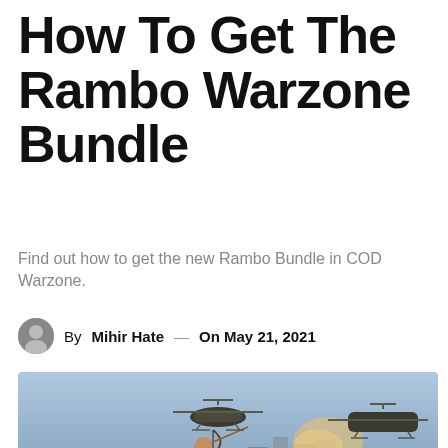How To Get The Rambo Warzone Bundle
Find out how to get the new Rambo Bundle in COD Warzone.
By Mihir Hate — On May 21, 2021
[Figure (photo): COD Warzone action scene showing a shirtless Rambo-like character shooting a bow with military helicopters in the background and the text COD WARZONE in yellow at the bottom]